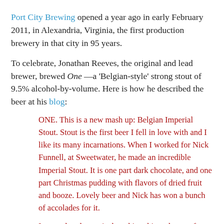Port City Brewing opened a year ago in early February 2011, in Alexandria, Virginia, the first production brewery in that city in 95 years.
To celebrate, Jonathan Reeves, the original and lead brewer, brewed One —a 'Belgian-style' strong stout of 9.5% alcohol-by-volume. Here is how he described the beer at his blog:
ONE. This is a new mash up: Belgian Imperial Stout. Stout is the first beer I fell in love with and I like its many incarnations. When I worked for Nick Funnell, at Sweetwater, he made an incredible Imperial Stout. It is one part dark chocolate, and one part Christmas pudding with flavors of dried fruit and booze. Lovely beer and Nick has won a bunch of accolades for it.
I wanted to do a twist by taking this style out of British territory and making it more Belgian. I made the character malt bill much leaner and added 1/5 of the gravity with candy sugar. I still used 6 different malts but in smaller proportions. The OG is 22p.